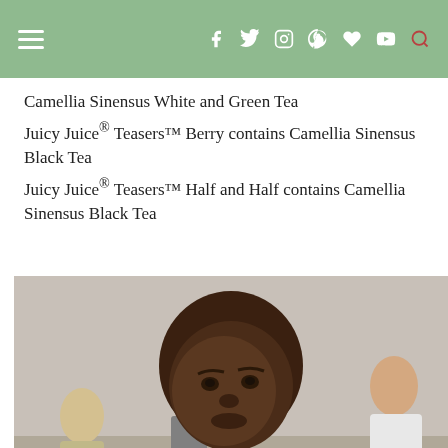Navigation bar with hamburger menu and social icons (Facebook, Twitter, Instagram, Pinterest, Heart, YouTube) and search
Camellia Sinensus White and Green Tea
Juicy Juice® Teasers™ Berry contains Camellia Sinensus Black Tea
Juicy Juice® Teasers™ Half and Half contains Camellia Sinensus Black Tea
[Figure (photo): A young boy in a red shirt sipping from a juice box at an outdoor event; other people visible in the background.]